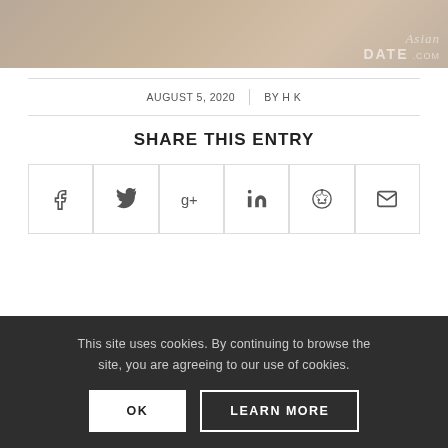[Figure (photo): Partial photo of a woman on a beach with AsianDate.com watermark]
AUGUST 5, 2020   BY H K
SHARE THIS ENTRY
[Figure (infographic): Social sharing buttons: Facebook, Twitter, Google+, LinkedIn, Reddit, Email]
This site uses cookies. By continuing to browse the site, you are agreeing to our use of cookies.
OK   LEARN MORE